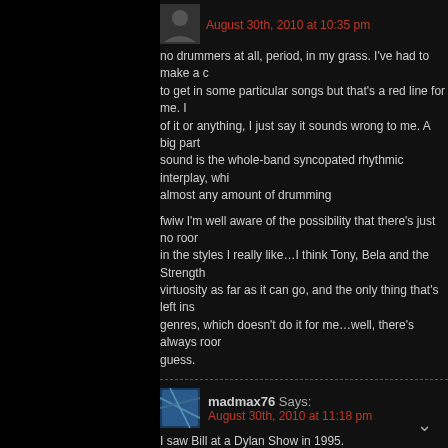August 30th, 2010 at 10:35 pm
no drummers at all, period, in my grass. I've had to make a c to get in some particular songs but that's a red line for me. I of it or anything, I just say it sounds wrong to me. A big part sound is the whole-band syncopated rhythmic interplay, whi almost any amount of drumming
fwiw I'm well aware of the possibility that there's just no roor in the styles I really like…I think Tony, Bela and the Strength virtuosity as far as it can go, and the only thing that's left ins genres, which doesn't do it for me…well, there's always roon guess.
madmax76 Says: August 30th, 2010 at 11:18 pm
I saw Bill at a Dylan Show in 1995.
madmax76 Says: August 30th, 2010 at 11:20 pm
If the played a bluegrass album, what would it be?
madmax76 Says: